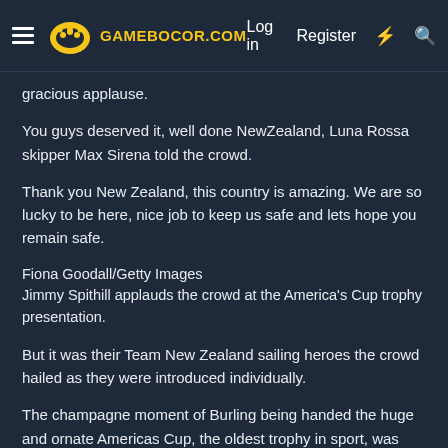GAMEBOCOR.COM | Log in | Register
gracious applause.
You guys deserved it, well done NewZealand, Luna Rossa skipper Max Sirena told the crowd.
Thank you New Zealand, this country is amazing. We are so lucky to be here, nice job to keep us safe and lets hope you remain safe.
Fiona Goodall/Getty Images
Jimmy Spithill applauds the crowd at the America's Cup trophy presentation.
But it was their Team New Zealand sailing heroes the crowd hailed as they were introduced individually.
The champagne moment of Burling being handed the huge and ornate Americas Cup, the oldest trophy in sport, was what everyone was waiting for, and it didnt disappoint as the